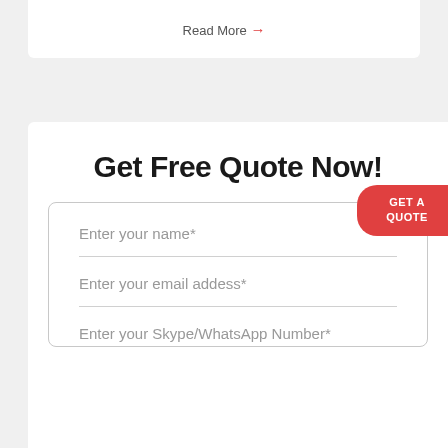Read More →
Get Free Quote Now!
GET A QUOTE
Enter your name*
Enter your email addess*
Enter your Skype/WhatsApp Number*